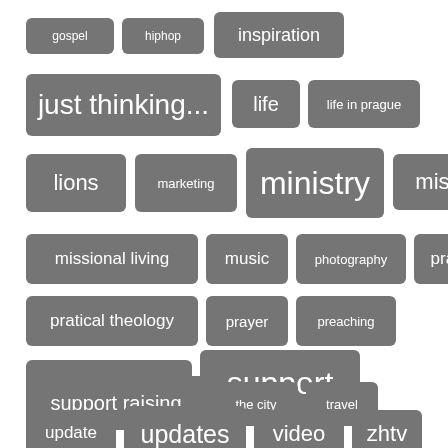[Figure (infographic): Tag cloud with words of varying sizes on gray rounded rectangle backgrounds: gospel, hiphop, inspiration, just thinking..., life, life in prague, lions, marketing, ministry, misc., missional living, music, photography, prague, pratical theology, prayer, preaching, procrastination, support, support raising, the city, travel, update, updates, video, zhtv]